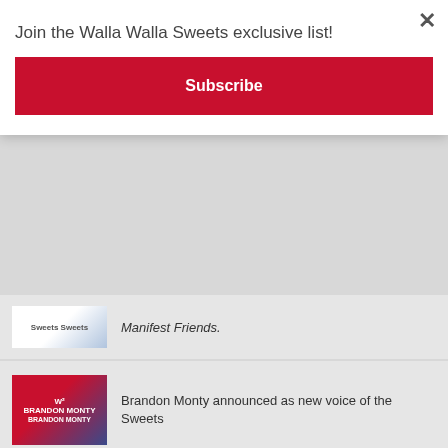Join the Walla Walla Sweets exclusive list!
Subscribe
Brandon Monty announced as new voice of the Sweets
Former MLB All-Star Jeff Cirillo To Manage The Sweets
Book Your Spring Training Trip To Arizona with the Sweets!
Walla Walla Sweets Announce New Leadership